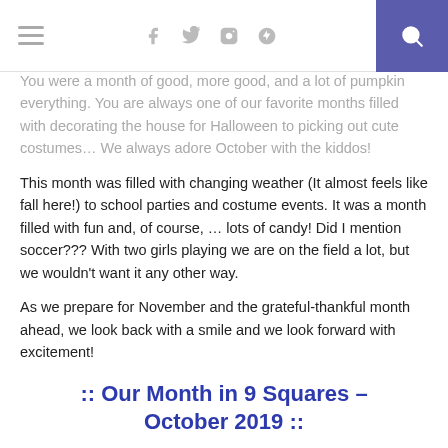≡   f  twitter  instagram  pinterest  [search]
You were a month of good, more good, and a lot of pumpkin everything. You are always one of our favorite months filled with decorating the house for Halloween to picking out cute costumes… We always adore October with the kiddos! This month was filled with changing weather (It almost feels like fall here!) to school parties and costume events. It was a month filled with fun and, of course, … lots of candy! Did I mention soccer??? With two girls playing we are on the field a lot, but we wouldn't want it any other way.

As we prepare for November and the grateful-thankful month ahead, we look back with a smile and we look forward with excitement!
:: Our Month in 9 Squares – October 2019 ::